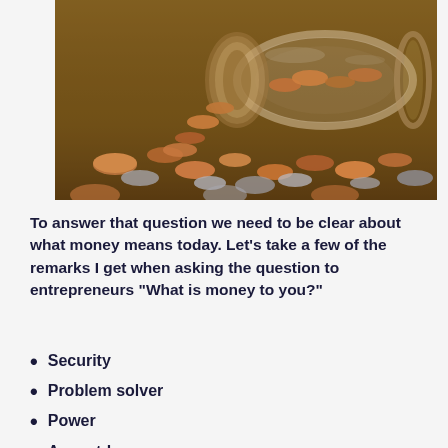[Figure (photo): A glass jar tipped on its side with coins spilling out onto a wooden surface, photographed in warm tones with shallow depth of field.]
To answer that question we need to be clear about what money means today. Let’s take a few of the remarks I get when asking the question to entrepreneurs “What is money to you?”
Security
Problem solver
Power
A must-have